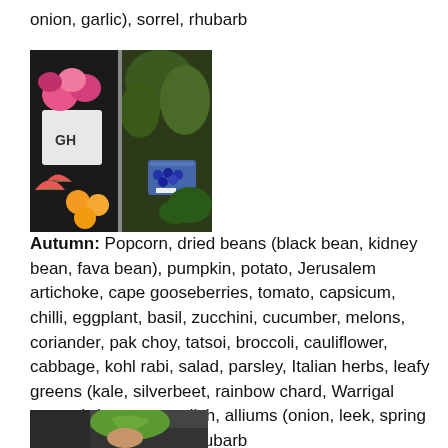onion, garlic), sorrel, rhubarb
[Figure (photo): A colourful market garden display showing pink zinnia flowers in a white pot marked 'GH', green leafy vegetables, watermelon slices, oranges, and a punnet of blueberries.]
Autumn: Popcorn, dried beans (black bean, kidney bean, fava bean), pumpkin, potato, Jerusalem artichoke, cape gooseberries, tomato, capsicum, chilli, eggplant, basil, zucchini, cucumber, melons, coriander, pak choy, tatsoi, broccoli, cauliflower, cabbage, kohl rabi, salad, parsley, Italian herbs, leafy greens (kale, silverbeet, rainbow chard, Warrigal greens), beetroot, radish, alliums (onion, leek, spring onion, garlic), sorrel, rhubarb
[Figure (photo): Partial view of a person handling green leafy vegetables, cropped at bottom of page.]